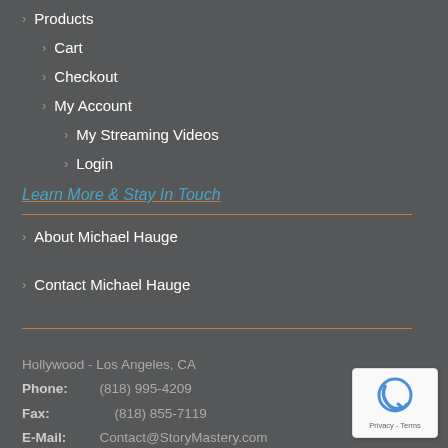Products
Cart
Checkout
My Account
My Streaming Videos
Login
Learn More & Stay In Touch
About Michael Hauge
Contact Michael Hauge
Hollywood - Los Angeles, CA
Phone:  (818) 995-4209
Fax:       (818) 855-7119
E-Mail:  Contact@StoryMastery.com
[Figure (logo): reCAPTCHA badge with Privacy and Terms links]